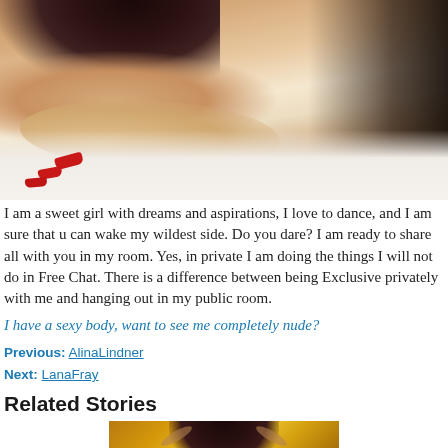[Figure (photo): A woman lying on a white bed, visible from shoulders/arms down, wearing dark lace clothing on the right side; red nails visible; another person partially visible in dark lace at top right.]
I am a sweet girl with dreams and aspirations, I love to dance, and I am sure that u can wake my wildest side. Do you dare? I am ready to share all with you in my room. Yes, in private I am doing the things I will not do in Free Chat. There is a difference between being Exclusive privately with me and hanging out in my public room.
I have a sexy body, want to see me completely nude?
Previous: AlinaLindner
Next: LanaFray
Related Stories
[Figure (photo): A dark-haired woman against a warm golden/orange bokeh background, hands raised near her face.]